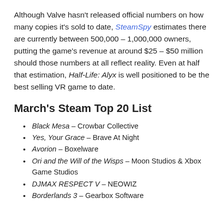Although Valve hasn't released official numbers on how many copies it's sold to date, SteamSpy estimates there are currently between 500,000 – 1,000,000 owners, putting the game's revenue at around $25 – $50 million should those numbers at all reflect reality. Even at half that estimation, Half-Life: Alyx is well positioned to be the best selling VR game to date.
March's Steam Top 20 List
Black Mesa – Crowbar Collective
Yes, Your Grace – Brave At Night
Avorion – Boxelware
Ori and the Will of the Wisps – Moon Studios & Xbox Game Studios
DJMAX RESPECT V – NEOWIZ
Borderlands 3 – Gearbox Software